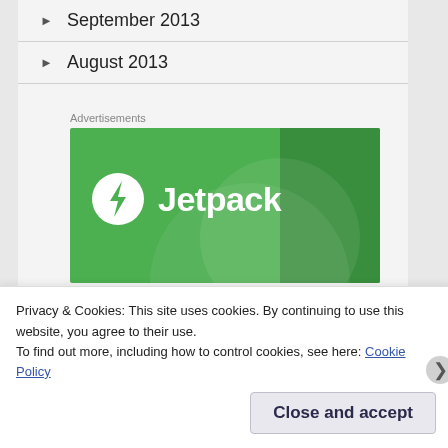September 2013
August 2013
Advertisements
[Figure (logo): Jetpack advertisement banner with green background, white circle icon with lightning bolt, and 'Jetpack' text in white]
Privacy & Cookies: This site uses cookies. By continuing to use this website, you agree to their use.
To find out more, including how to control cookies, see here: Cookie Policy
Close and accept